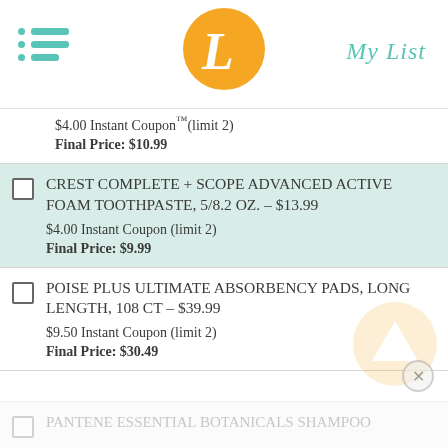My List
$4.00 Instant Coupon (limit 2)
Final Price: $10.99
CREST COMPLETE + SCOPE ADVANCED ACTIVE FOAM TOOTHPASTE, 5/8.2 OZ. – $13.99
$4.00 Instant Coupon (limit 2)
Final Price: $9.99
POISE PLUS ULTIMATE ABSORBENCY PADS, LONG LENGTH, 108 CT – $39.99
$9.50 Instant Coupon (limit 2)
Final Price: $30.49
PANTENE ESSENTIAL BOTANICALS SHAMPOO